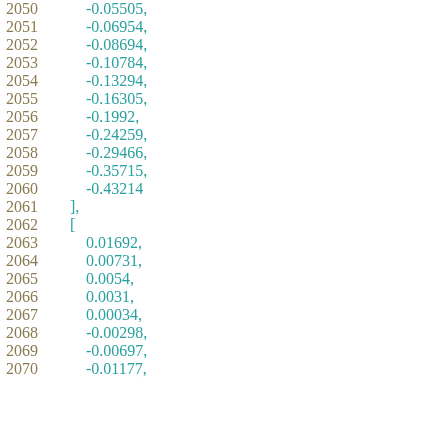Code listing showing line numbers 2050-2070 with numeric array data values in teal/cyan monospace font on white background. Lines 2050-2060 show negative values from -0.05505 to -0.43214 ending with closing bracket and comma on 2061. Line 2062 shows opening bracket. Lines 2063-2070 show values: 0.01692, 0.00731, 0.0054, 0.0031, 0.00034, -0.00298, -0.00697, -0.01177,